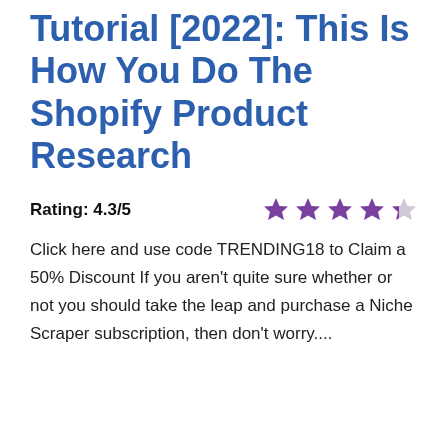Tutorial [2022]: This Is How You Do The Shopify Product Research
Rating: 4.3/5
Click here and use code TRENDING18 to Claim a 50% Discount If you aren't quite sure whether or not you should take the leap and purchase a Niche Scraper subscription, then don't worry....